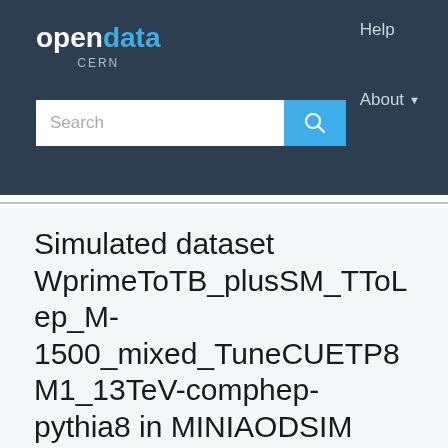opendata CERN
[Figure (screenshot): CERN Open Data portal navigation bar with logo, search bar and Help/About links]
Simulated dataset WprimeToTB_plusSM_TToLep_M-1500_mixed_TuneCUETP8M1_13TeV-comphep-pythia8 in MINIAODSIM format for 2015 collision